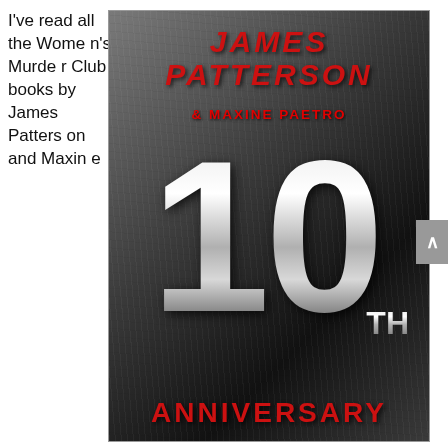I've read all the Women's Murder Club books by James Patterson and Maxine e
[Figure (illustration): Book cover for '10th Anniversary' by James Patterson & Maxine Paetro. Metallic dark gray textured background. Large red italic text 'JAMES PATTERSON' at top, below it '& MAXINE PAETRO' in red. Giant chrome/silver metallic '10' numeral dominates center. Small 'TH' in metallic style lower right. Red bold text 'ANNIVERSARY' across the bottom.]